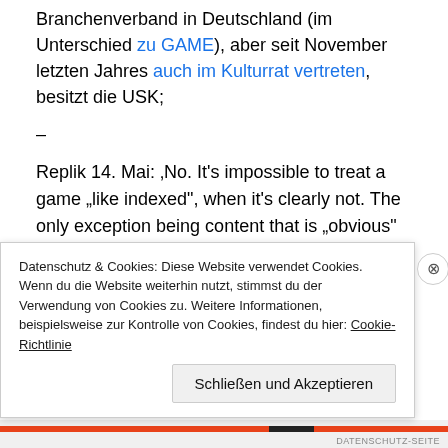Branchenverband in Deutschland (im Unterschied zu GAME), aber seit November letzten Jahres auch im Kulturrat vertreten, besitzt die USK;
–
Replik 14. Mai: ‚No. It's impossible to treat a game „like indexed“, when it's clearly not. The only exception being content that is „obvious“ („offensichtlich“) „severely harmful to minors“. And with this game, this is clearly not the case. Because of a myriad of things, among them the publishing history and the indifferent packaging compared to other
Datenschutz & Cookies: Diese Website verwendet Cookies. Wenn du die Website weiterhin nutzt, stimmst du der Verwendung von Cookies zu. Weitere Informationen, beispielsweise zur Kontrolle von Cookies, findest du hier: Cookie-Richtlinie
Schließen und Akzeptieren